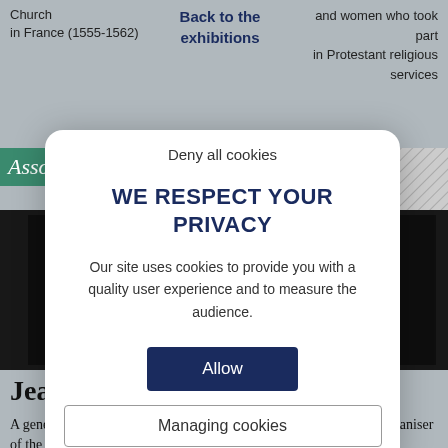Church
in France (1555-1562)
Back to the exhibitions
and women who took part
in Protestant religious
services
[Figure (screenshot): Green banner with italic text 'Asso' partially visible]
[Figure (photo): Dark background image area, appears to be a dark fabric or surface]
Jean Calvin (1509-1564)
A generation after Luther, the Frenchman Jean Calvin became the organiser of the Reformation : he
Deny all cookies
WE RESPECT YOUR PRIVACY
Our site uses cookies to provide you with a quality user experience and to measure the audience.
Allow
Managing cookies